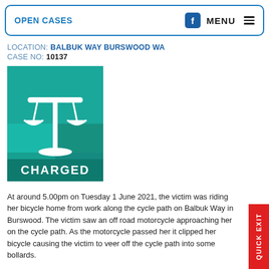OPEN CASES | MENU
LOCATION: BALBUK WAY BURSWOOD WA
CASE NO: 10137
[Figure (illustration): Teal/green square badge with white scales of justice icon and 'CHARGED' text in white at the bottom]
At around 5.00pm on Tuesday 1 June 2021, the victim was riding her bicycle home from work along the cycle path on Balbuk Way in Burswood. The victim saw an off road motorcycle approaching her on the cycle path. As the motorcycle passed her it clipped her bicycle causing the victim to veer off the cycle path into some bollards.
The man riding the motorcycle continued on for about 30 metres, d